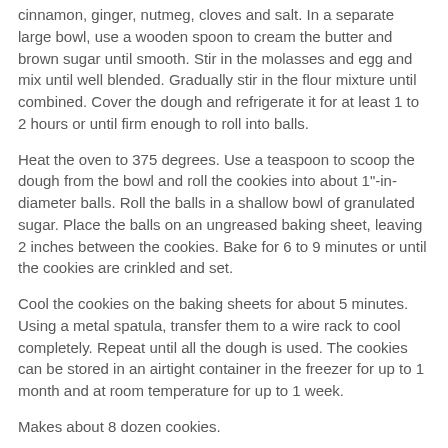cinnamon, ginger, nutmeg, cloves and salt. In a separate large bowl, use a wooden spoon to cream the butter and brown sugar until smooth. Stir in the molasses and egg and mix until well blended. Gradually stir in the flour mixture until combined. Cover the dough and refrigerate it for at least 1 to 2 hours or until firm enough to roll into balls.
Heat the oven to 375 degrees. Use a teaspoon to scoop the dough from the bowl and roll the cookies into about 1"-in-diameter balls. Roll the balls in a shallow bowl of granulated sugar. Place the balls on an ungreased baking sheet, leaving 2 inches between the cookies. Bake for 6 to 9 minutes or until the cookies are crinkled and set.
Cool the cookies on the baking sheets for about 5 minutes. Using a metal spatula, transfer them to a wire rack to cool completely. Repeat until all the dough is used. The cookies can be stored in an airtight container in the freezer for up to 1 month and at room temperature for up to 1 week.
Makes about 8 dozen cookies.